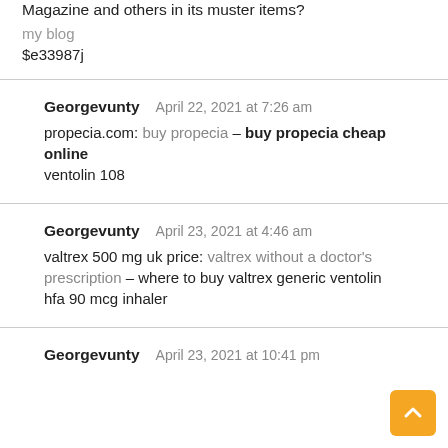Magazine and others in its muster items?
my blog
$e33987j
Georgevunty    April 22, 2021 at 7:26 am
propecia.com: buy propecia – buy propecia cheap online ventolin 108
Georgevunty    April 23, 2021 at 4:46 am
valtrex 500 mg uk price: valtrex without a doctor's prescription – where to buy valtrex generic ventolin hfa 90 mcg inhaler
Georgevunty    April 23, 2021 at 10:41 pm